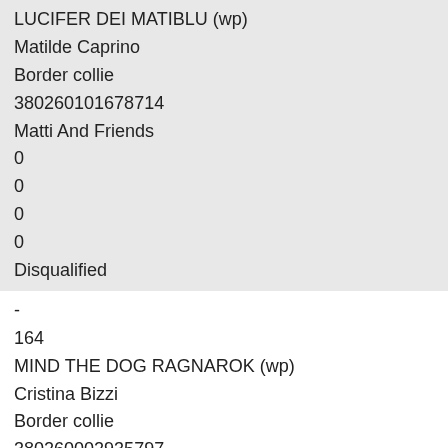LUCIFER DEI MATIBLU (wp)
Matilde Caprino
Border collie
380260101678714
Matti And Friends
0
0
0
0
Disqualified
-
164
MIND THE DOG RAGNAROK (wp)
Cristina Bizzi
Border collie
380260002935797
WEAVE A DREAM a.s.d.
0
0
0